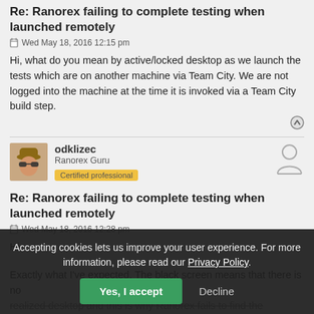Re: Ranorex failing to complete testing when launched remotely
Wed May 18, 2016 12:15 pm
Hi, what do you mean by active/locked desktop as we launch the tests which are on another machine via Team City. We are not logged into the machine at the time it is invoked via a Team City build step.
[Figure (photo): Avatar photo of user odklizec wearing a hat and sunglasses]
odklizec
Ranorex Guru
Certified professional
[Figure (illustration): Generic user/person icon silhouette]
Re: Ranorex failing to complete testing when launched remotely
Wed May 18, 2016 12:28 pm
Hi,
Exactly what I've expected. The black screen means that there is no realized desktop and this is why Ranorex fails to find the elements and
Accepting cookies lets us improve your user experience. For more information, please read our Privacy Policy.
Yes, I accept
Decline